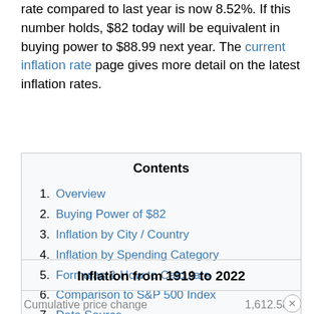rate compared to last year is now 8.52%. If this number holds, $82 today will be equivalent in buying power to $88.99 next year. The current inflation rate page gives more detail on the latest inflation rates.
Contents
1. Overview
2. Buying Power of $82
3. Inflation by City / Country
4. Inflation by Spending Category
5. Formulas & How to Calculate
6. Comparison to S&P 500 Index
7. Data Source
Inflation from 1919 to 2022
|  |  |
| --- | --- |
| Cumulative price change | 1,612.58% |
| Average inflation rate | 2.80% |